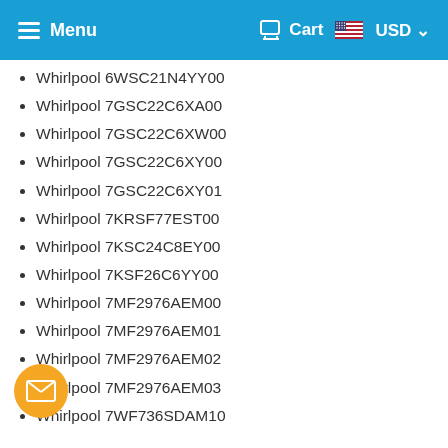Menu  Cart  USD
Whirlpool 6WSC21N4YY00
Whirlpool 7GSC22C6XA00
Whirlpool 7GSC22C6XW00
Whirlpool 7GSC22C6XY00
Whirlpool 7GSC22C6XY01
Whirlpool 7KRSF77EST00
Whirlpool 7KSC24C8EY00
Whirlpool 7KSF26C6YY00
Whirlpool 7MF2976AEM00
Whirlpool 7MF2976AEM01
Whirlpool 7MF2976AEM02
Whirlpool 7MF2976AEM03
Whirlpool 7WF736SDAM10